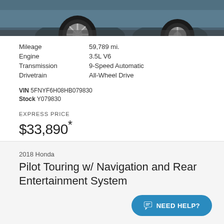[Figure (photo): Partial view of a blue Honda Pilot vehicle showing the front wheel and lower body on a grey surface]
Mileage  59,789 mi.
Engine  3.5L V6
Transmission  9-Speed Automatic
Drivetrain  All-Wheel Drive
VIN 5FNYF6H08HB079830
Stock Y079830
EXPRESS PRICE
$33,890*
2018 Honda
Pilot Touring w/ Navigation and Rear Entertainment System
NEED HELP?